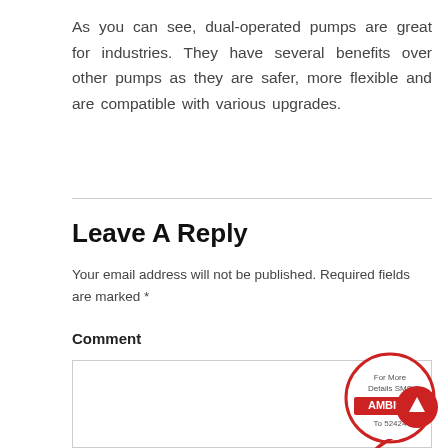As you can see, dual-operated pumps are great for industries. They have several benefits over other pumps as they are safer, more flexible and are compatible with various upgrades.
Leave A Reply
Your email address will not be published. Required fields are marked *
Comment
[Figure (other): Red circular speech bubble badge with text 'For More Details SMS AMBICA To 52424']
[Figure (other): Red circular scroll-to-top button with upward arrow]